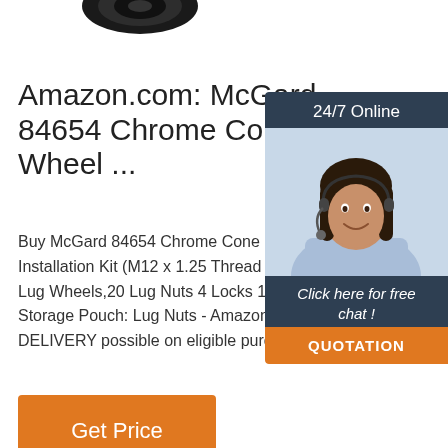[Figure (photo): Partial view of a black wheel lock or lug nut product at the top of the page]
Amazon.com: McGard 84654 Chrome Cone Seat Wheel ...
Buy McGard 84654 Chrome Cone Seat Wheel Lock Installation Kit (M12 x 1.25 Thread Size) - Lug Wheels,20 Lug Nuts 4 Locks 1 Key 1 Storage Pouch: Lug Nuts - Amazon.com FREE DELIVERY possible on eligible purchases
[Figure (infographic): 24/7 Online chat widget showing a customer service representative with headset, with 'Click here for free chat!' text and QUOTATION button]
Get Price